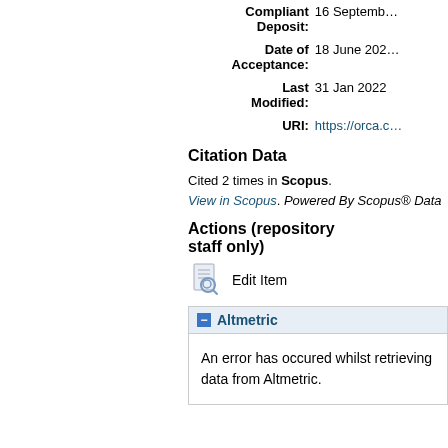Compliant Deposit: 16 September
Date of Acceptance: 18 June 202
Last Modified: 31 Jan 2022
URI: https://orca.c
Citation Data
Cited 2 times in Scopus. View in Scopus. Powered By Scopus® Data
Actions (repository staff only)
Edit Item
Altmetric
An error has occured whilst retrieving data from Altmetric.